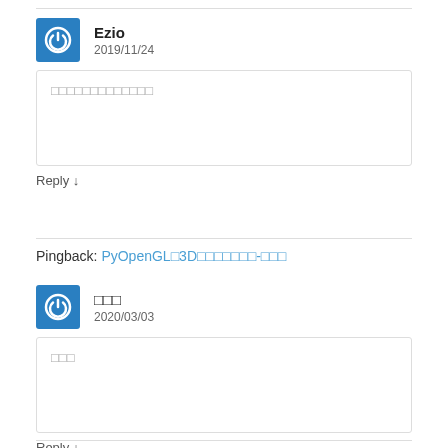Ezio
2019/11/24
□□□□□□□□□□□□□
Reply ↓
Pingback: PyOpenGL□3D□□□□□□□-□□□
□□□
2020/03/03
□□□
Reply ↓